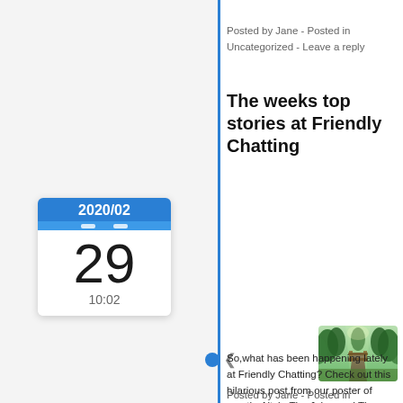Posted by Jane - Posted in Uncategorized - Leave a reply
The weeks top stories at Friendly Chatting
[Figure (other): Calendar widget showing date 2020/02, day 29, time 10:02]
[Figure (photo): Green forest/nature path thumbnail image]
So,what has been happening lately at Friendly Chatting? Check out this hilarious post,from our poster of month, Aitch: The Joker and The Squirrel Pay a visit to see Kevin and his lions, Thomas and Aitch responds at the sanctuary: The Three Ministers Worried bout the Coronavirus: Discuss: Is the Coronavirus spreading too? We [...]
[Figure (other): Dark semi-transparent overlay panel with upward chevron/arrow icon]
Posted by Jane - Posted in